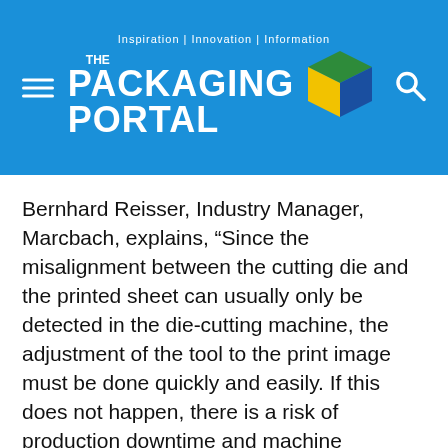THE PACKAGING PORTAL — Inspiration | Innovation | Information
Bernhard Reisser, Industry Manager, Marcbach, explains, “Since the misalignment between the cutting die and the printed sheet can usually only be detected in the die-cutting machine, the adjustment of the tool to the print image must be done quickly and easily. If this does not happen, there is a risk of production downtime and machine downtime costs. But this does not have to be the case. For some time, we have been offering our customers a special solution: a tool with register adjustment. With this technology, our